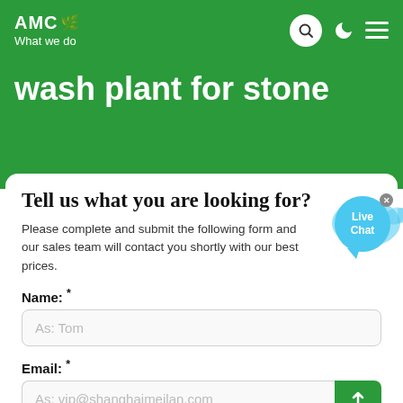AMC — What we do
wash plant for stone
Tell us what you are looking for?
Please complete and submit the following form and our sales team will contact you shortly with our best prices.
Name: *
As: Tom
Email: *
As: vip@shanghaimeilan.com
Phone: *
With Country Code